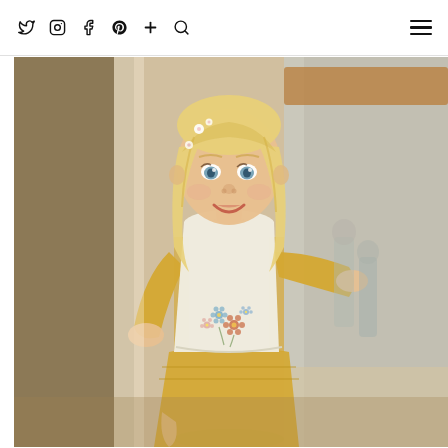Social media nav icons (Twitter, Instagram, Facebook, Pinterest, Plus, Search) and hamburger menu
[Figure (photo): A young toddler girl with blonde hair and small flower clips standing in a bright indoor space. She wears a yellow gingham long-sleeve shirt under a cream embroidered floral knit vest, and a yellow gingham skirt with smocking. She is smiling and reaching her arm out to the side.]